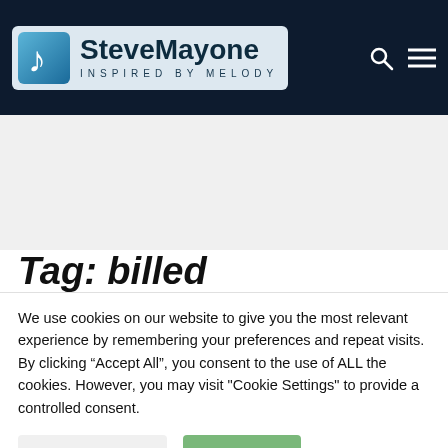[Figure (logo): SteveMayone logo with a music note icon on a light blue square, text 'SteveMayone' in bold dark font and 'INSPIRED BY MELODY' in spaced letters below, on a dark navy header bar with search and menu icons on the right]
Tag: billed
We use cookies on our website to give you the most relevant experience by remembering your preferences and repeat visits. By clicking “Accept All”, you consent to the use of ALL the cookies. However, you may visit "Cookie Settings" to provide a controlled consent.
Cookie Settings | Accept All